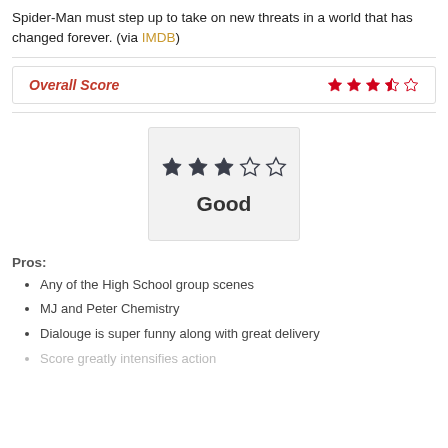Spider-Man must step up to take on new threats in a world that has changed forever. (via IMDB)
[Figure (other): Overall Score box with red italic label 'Overall Score' and 3.5 red stars rating]
[Figure (other): Rating box with dark 3-star rating and word 'Good']
Pros:
Any of the High School group scenes
MJ and Peter Chemistry
Dialouge is super funny along with great delivery
Score greatly intensifies action